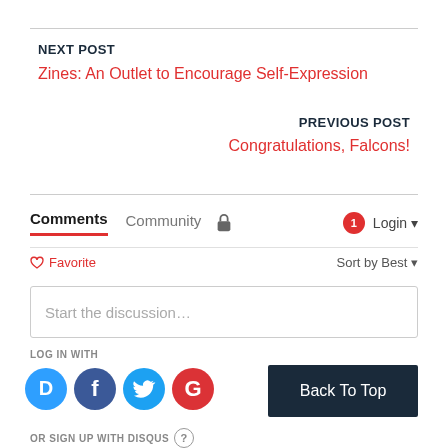NEXT POST
Zines: An Outlet to Encourage Self-Expression
PREVIOUS POST
Congratulations, Falcons!
Comments  Community  Login
♡ Favorite  Sort by Best
Start the discussion…
LOG IN WITH
[Figure (infographic): Social login icons: Disqus (blue circle D), Facebook (blue circle f), Twitter (cyan circle bird), Google (red circle G)]
Back To Top
OR SIGN UP WITH DISQUS